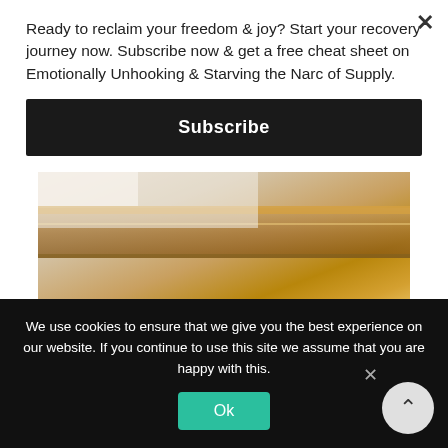Ready to reclaim your freedom & joy? Start your recovery journey now. Subscribe now & get a free cheat sheet on Emotionally Unhooking & Starving the Narc of Supply.
Subscribe
[Figure (photo): Close-up photo of stacked books with warm golden-brown tones, partially visible.]
My plan is to be your cheerleader on your journey. The site shares wisdom, lessons learned, and practical tips
We use cookies to ensure that we give you the best experience on our website. If you continue to use this site we assume that you are happy with this.
Ok